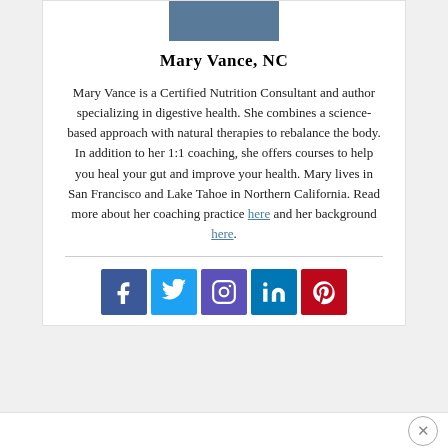[Figure (photo): Partial photo of Mary Vance at top of card]
Mary Vance, NC
Mary Vance is a Certified Nutrition Consultant and author specializing in digestive health. She combines a science-based approach with natural therapies to rebalance the body. In addition to her 1:1 coaching, she offers courses to help you heal your gut and improve your health. Mary lives in San Francisco and Lake Tahoe in Northern California. Read more about her coaching practice here and her background here.
[Figure (infographic): Social media icons row: Facebook, Twitter, Instagram, LinkedIn, Pinterest]